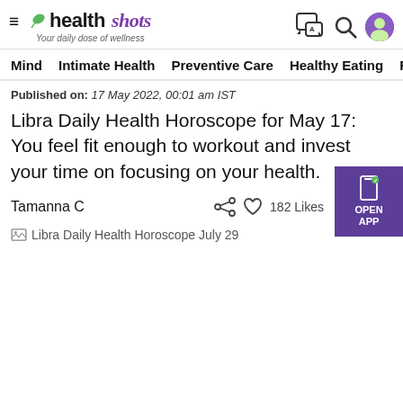[Figure (logo): Healthshots logo with leaf icon, site name 'healthshots' and tagline 'Your daily dose of wellness']
Mind   Intimate Health   Preventive Care   Healthy Eating   F
Published on: 17 May 2022, 00:01 am IST
Libra Daily Health Horoscope for May 17: You feel fit enough to workout and invest your time on focusing on your health.
Tamanna C
[Figure (photo): Broken image placeholder for 'Libra Daily Health Horoscope July 29']